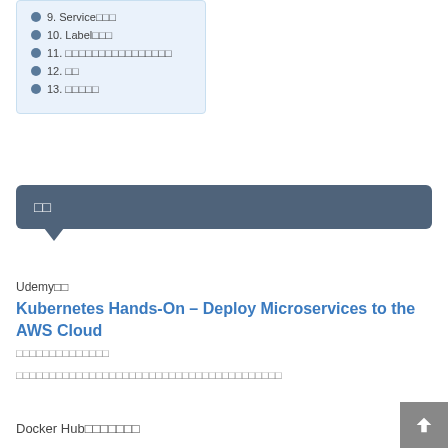9. Service□□□
10. Label□□□
11. □□□□□□□□□□□□□□□□
12. □□
13. □□□□□
□□
Udemy□□
Kubernetes Hands-On – Deploy Microservices to the AWS Cloud
□□□□□□□□□□□□□□
□□□□□□□□□□□□□□□□□□□□□□□□□□□□□□□□□□□□□□□□
Docker Hub□□□□□□□